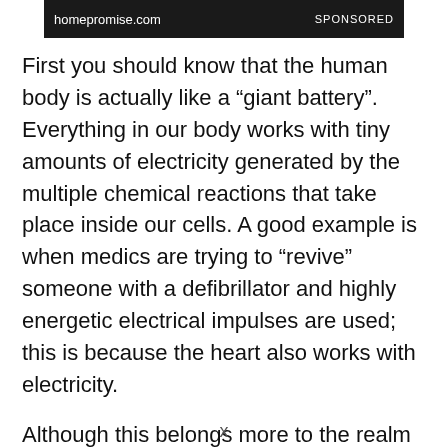[Figure (other): Advertisement banner with dark background showing homepromise.com URL and SPONSORED label]
First you should know that the human body is actually like a “giant battery”. Everything in our body works with tiny amounts of electricity generated by the multiple chemical reactions that take place inside our cells. A good example is when medics are trying to “revive” someone with a defibrillator and highly energetic electrical impulses are used; this is because the heart also works with electricity.
Although this belongs more to the realm of
x